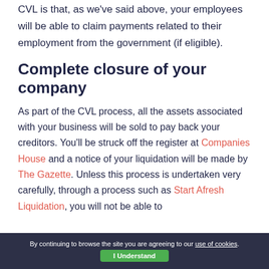CVL is that, as we've said above, your employees will be able to claim payments related to their employment from the government (if eligible).
Complete closure of your company
As part of the CVL process, all the assets associated with your business will be sold to pay back your creditors. You'll be struck off the register at Companies House and a notice of your liquidation will be made by The Gazette. Unless this process is undertaken very carefully, through a process such as Start Afresh Liquidation, you will not be able to
By continuing to browse the site you are agreeing to our use of cookies. I Understand